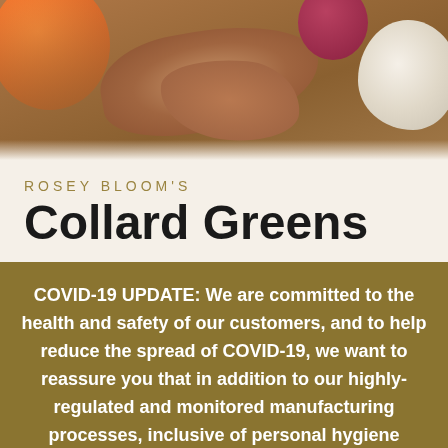[Figure (photo): Close-up photo of vegetables and roots including an orange tomato, ginger root, garlic, and red onion on a wooden surface]
ROSEY BLOOM'S
Collard Greens
COVID-19 UPDATE: We are committed to the health and safety of our customers, and to help reduce the spread of COVID-19, we want to reassure you that in addition to our highly-regulated and monitored manufacturing processes, inclusive of personal hygiene protocols, we also disinfect every single jar of packaged Rosey Bloom's collard greens prior to shipping. Dismiss